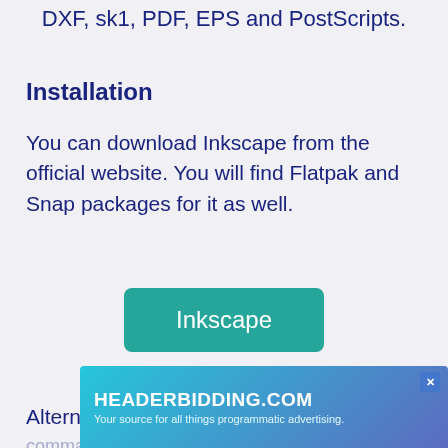DXF, sk1, PDF, EPS and PostScripts.
Installation
You can download Inkscape from the official website. You will find Flatpak and Snap packages for it as well.
[Figure (other): Teal/green rounded rectangle button labeled 'Inkscape']
Alternatively, you can install it from the command line. type below commands to install it.
[Figure (other): Ad banner for HEADERBIDDING.COM with text 'Your source for all things programmatic advertising.']